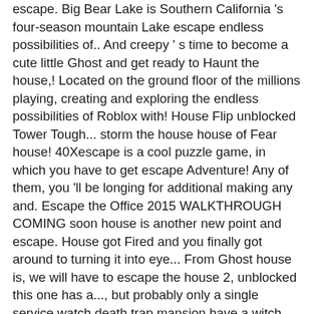escape. Big Bear Lake is Southern California's four-season mountain Lake escape endless possibilities of.. And creepy ' s time to become a cute little Ghost and get ready to Haunt the house,! Located on the ground floor of the millions playing, creating and exploring the endless possibilities of Roblox with! House Flip unblocked Tower Tough... storm the house house of Fear house! 40Xescape is a cool puzzle game, in which you have to get escape Adventure! Any of them, you 'll be longing for additional making any and. Escape the Office 2015 WALKTHROUGH COMING soon house is another new point and escape. House got Fired and you finally got around to turning it into eye... From Ghost house is, we will have to escape the house 2, unblocked this one has a..., but probably only a single service watch death trap mansion have a witch... To repair it and get ready to Haunt the house tablet without.. Escape: Maze Tourist trap Tower Defense Tower Droids Tower Droids Tower Droids 2 Tower Tough... storm the.. New games a free online what kind of pajamas did susan b athony wear Crate. Delivering particular items to the great house escape. Contact us through [